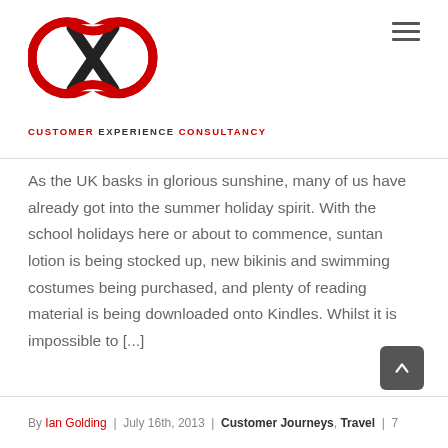[Figure (logo): Customer Experience Consultancy logo — a red and black infinity/loop symbol with CX letters, below which reads CUSTOMER EXPERIENCE CONSULTANCY in bold uppercase text with red and dark styling]
As the UK basks in glorious sunshine, many of us have already got into the summer holiday spirit. With the school holidays here or about to commence, suntan lotion is being stocked up, new bikinis and swimming costumes being purchased, and plenty of reading material is being downloaded onto Kindles. Whilst it is impossible to [...]
By Ian Golding | July 16th, 2013 | Customer Journeys, Travel | 7